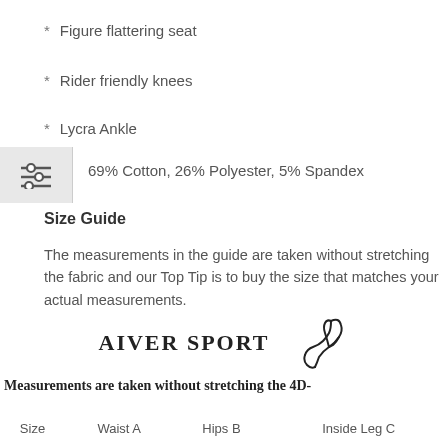* Figure flattering seat
* Rider friendly knees
* Lycra Ankle
69% Cotton, 26% Polyester, 5% Spandex
Size Guide
The measurements in the guide are taken without stretching the fabric and our Top Tip is to buy the size that matches your actual measurements.
[Figure (logo): Aiver Sport logo with horse head silhouette]
Measurements are taken without stretching the 4D-
| Size | Waist A | Hips B | Inside Leg C |
| --- | --- | --- | --- |